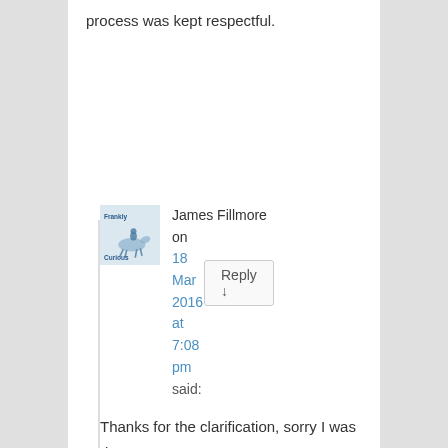process was kept respectful.
Reply ↓
[Figure (logo): Frankly Curious blog logo with illustrated figure on horseback]
James Fillmore on 18 Mar 2016 at 7:08 pm said:
Thanks for the clarification, sorry I was dense.